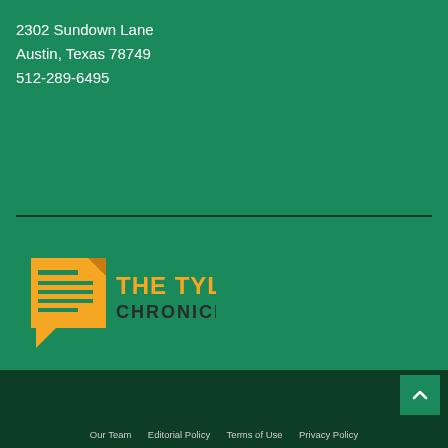2302 Sundown Lane
Austin, Texas 78749
512-289-6495
[Figure (logo): The Tyler Chronicle logo — orange newspaper icon on the left, with 'THE TYLER' in orange bold text and 'CHRONICLE' in dark/black bold text]
Our Team   Editorial Policy   Terms of Use   Privacy Policy